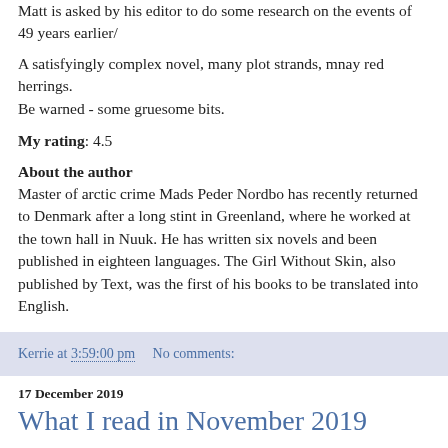Matt is asked by his editor to do some research on the events of 49 years earlier/
A satisfyingly complex novel, many plot strands, mnay red herrings.
Be warned - some gruesome bits.
My rating: 4.5
About the author
Master of arctic crime Mads Peder Nordbo has recently returned to Denmark after a long stint in Greenland, where he worked at the town hall in Nuuk. He has written six novels and been published in eighteen languages. The Girl Without Skin, also published by Text, was the first of his books to be translated into English.
Kerrie at 3:59:00 pm    No comments:
17 December 2019
What I read in November 2019